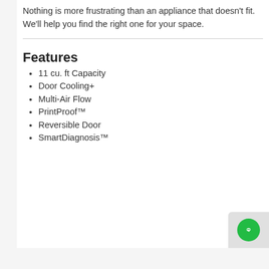Nothing is more frustrating than an appliance that doesn't fit. We'll help you find the right one for your space.
Features
11 cu. ft Capacity
Door Cooling+
Multi-Air Flow
PrintProof™
Reversible Door
SmartDiagnosis™